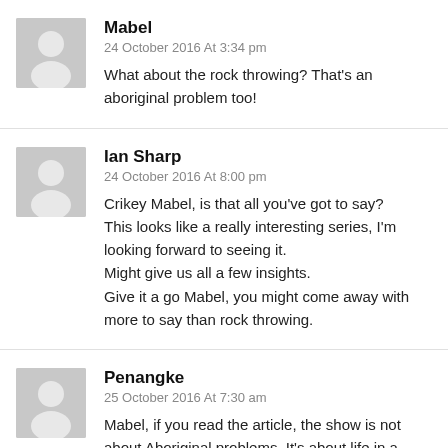Mabel
24 October 2016 At 3:34 pm
What about the rock throwing? That's an aboriginal problem too!
Ian Sharp
24 October 2016 At 8:00 pm
Crikey Mabel, is that all you've got to say? This looks like a really interesting series, I'm looking forward to seeing it. Might give us all a few insights. Give it a go Mabel, you might come away with more to say than rock throwing.
Penangke
25 October 2016 At 7:30 am
Mabel, if you read the article, the show is not about Aboriginal problems. It's about life in a